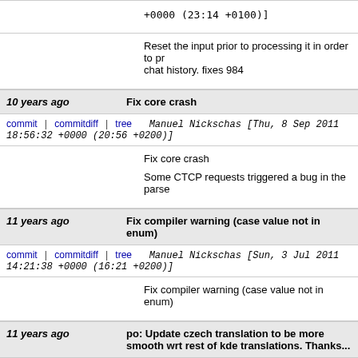+0000 (23:14 +0100)]
Reset the input prior to processing it in order to pr chat history. fixes 984
10 years ago   Fix core crash
commit | commitdiff | tree   Manuel Nickschas [Thu, 8 Sep 2011 18:56:32 +0000 (20:56 +0200)]
Fix core crash

Some CTCP requests triggered a bug in the parse
11 years ago   Fix compiler warning (case value not in enum)
commit | commitdiff | tree   Manuel Nickschas [Sun, 3 Jul 2011 14:21:38 +0000 (16:21 +0200)]
Fix compiler warning (case value not in enum)
11 years ago   po: Update czech translation to be more smooth wrt rest of kde translations. Thanks...
commit | commitdiff | tree   Tomas Chvatal [Tue, 28 Jun 2011 15:39:17 +0000 (17:39 +0200)]